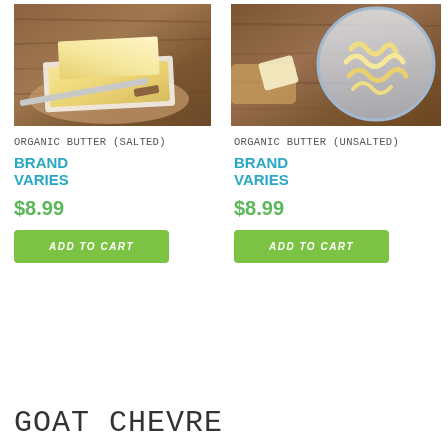[Figure (photo): Photo of stacked butter blocks on a wooden board with a knife, warm tones]
[Figure (photo): Photo of butter curls in a glass bowl on a wooden surface]
ORGANIC BUTTER (SALTED)
ORGANIC BUTTER (UNSALTED)
BRAND VARIES
BRAND VARIES
$8.99
$8.99
ADD TO CART
ADD TO CART
GOAT CHEVRE